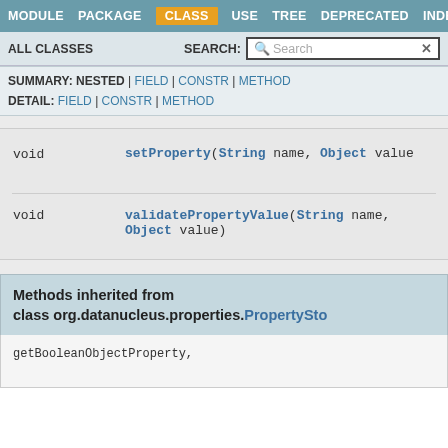MODULE  PACKAGE  CLASS  USE  TREE  DEPRECATED  INDEX
ALL CLASSES   SEARCH:
SUMMARY: NESTED | FIELD | CONSTR | METHOD
DETAIL: FIELD | CONSTR | METHOD
| return type | method |
| --- | --- |
| void | setProperty(String name, Object value) |
| void | validatePropertyValue(String name, Object value) |
Methods inherited from class org.datanucleus.properties.PropertySto...
getBooleanObjectProperty,